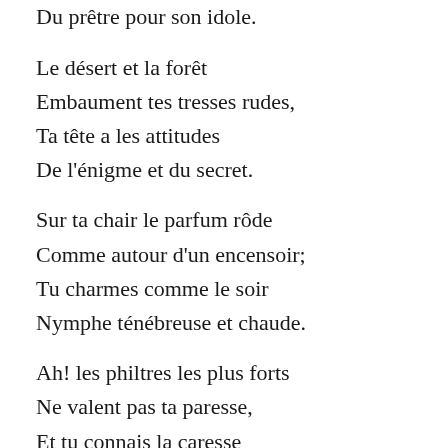Du prêtre pour son idole.

Le désert et la forêt
Embaument tes tresses rudes,
Ta tête a les attitudes
De l'énigme et du secret.

Sur ta chair le parfum rôde
Comme autour d'un encensoir;
Tu charmes comme le soir
Nymphe ténébreuse et chaude.

Ah! les philtres les plus forts
Ne valent pas ta paresse,
Et tu connais la caresse
Qui fait revivre les morts!

Tes hanches sont amoureuses